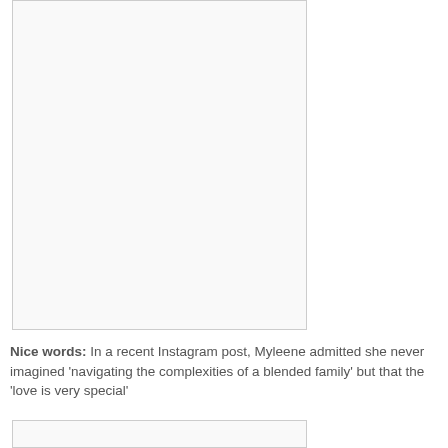[Figure (photo): Photo placeholder — white/light grey rectangle with border]
Nice words: In a recent Instagram post, Myleene admitted she never imagined 'navigating the complexities of a blended family' but that the 'love is very special'
[Figure (photo): Partial photo placeholder at bottom of page]